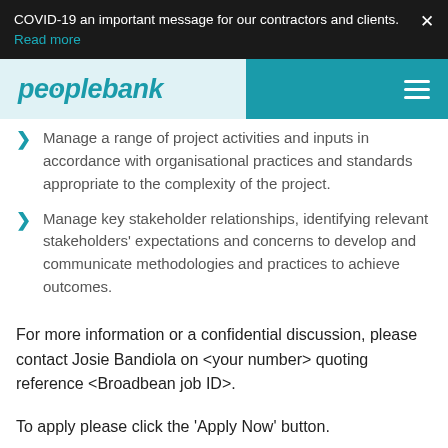COVID-19 an important message for our contractors and clients. Read more
peoplebank
Manage a range of project activities and inputs in accordance with organisational practices and standards appropriate to the complexity of the project.
Manage key stakeholder relationships, identifying relevant stakeholders' expectations and concerns to develop and communicate methodologies and practices to achieve outcomes.
For more information or a confidential discussion, please contact Josie Bandiola on <your number> quoting reference <Broadbean job ID>.
To apply please click the 'Apply Now' button.